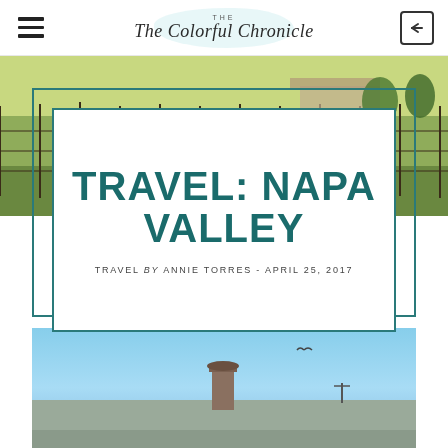The Colorful Chronicle
[Figure (photo): Outdoor vineyard/farm scene with green fields, wooden fence posts, and structures in background]
TRAVEL: NAPA VALLEY
TRAVEL by ANNIE TORRES - APRIL 25, 2017
[Figure (photo): Blue sky with rooftop of a building with chimney visible]